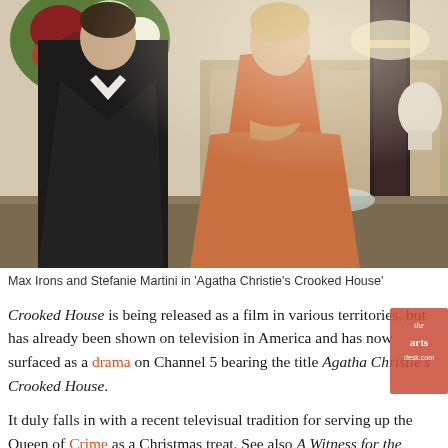[Figure (photo): Max Irons and Stefanie Martini in a scene from 'Agatha Christie's Crooked House'. A man in a dark suit stands with his back mostly to the camera on the left, while a woman in a rust/orange period dress stands facing slightly away with arms crossed on the right. An elaborate floral arrangement and classical interior decor are visible in the background.]
Max Irons and Stefanie Martini in 'Agatha Christie's Crooked House'
Crooked House is being released as a film in various territories, but has already been shown on television in America and has now surfaced as a drama on Channel 5 bearing the title Agatha Christie's Crooked House.
It duly falls in with a recent televisual tradition for serving up the Queen of Crime as a Christmas treat. See also A Witness for the Prosecution and And Then There Were None (which would have been joined by Ordeal by Innocence on Boxing Day until the BBC pulled it on learning that its star Ed Westwick was accused of rape and